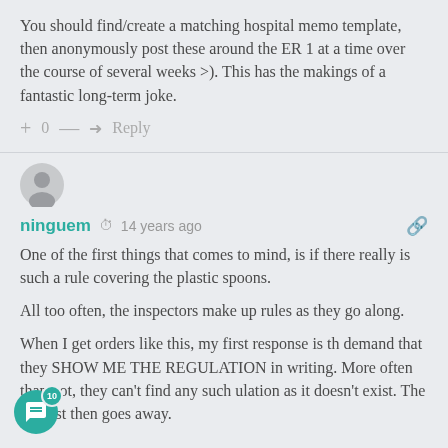You should find/create a matching hospital memo template, then anonymously post these around the ER 1 at a time over the course of several weeks >). This has the makings of a fantastic long-term joke.
+ 0 — → Reply
[Figure (illustration): User avatar icon (grey circle with person silhouette)]
ninguem  14 years ago
One of the first things that comes to mind, is if there really is such a rule covering the plastic spoons.
All too often, the inspectors make up rules as they go along.
When I get orders like this, my first response is th demand that they SHOW ME THE REGULATION in writing. More often than not, they can't find any such ulation as it doesn't exist. The request then goes away.